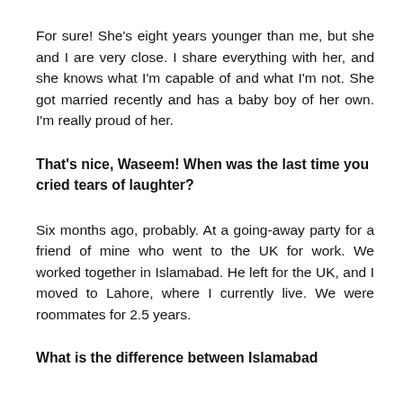For sure! She's eight years younger than me, but she and I are very close. I share everything with her, and she knows what I'm capable of and what I'm not. She got married recently and has a baby boy of her own. I'm really proud of her.
That's nice, Waseem! When was the last time you cried tears of laughter?
Six months ago, probably. At a going-away party for a friend of mine who went to the UK for work. We worked together in Islamabad. He left for the UK, and I moved to Lahore, where I currently live. We were roommates for 2.5 years.
What is the difference between Islamabad